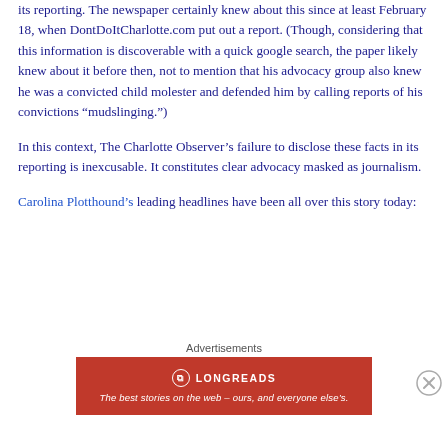its reporting. The newspaper certainly knew about this since at least February 18, when DontDoItCharlotte.com put out a report. (Though, considering that this information is discoverable with a quick google search, the paper likely knew about it before then, not to mention that his advocacy group also knew he was a convicted child molester and defended him by calling reports of his convictions “mudslinging.”)
In this context, The Charlotte Observer’s failure to disclose these facts in its reporting is inexcusable. It constitutes clear advocacy masked as journalism.
Carolina Plotthound’s leading headlines have been all over this story today:
[Figure (other): Longreads advertisement banner: red background with Longreads logo and text 'The best stories on the web – ours, and everyone else’s.' with Advertisements label above and close (X) button.]